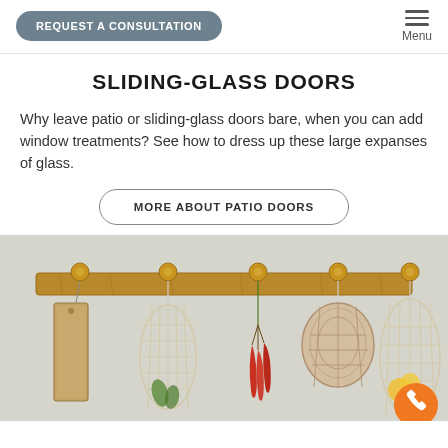REQUEST A CONSULTATION | Menu
SLIDING-GLASS DOORS
Why leave patio or sliding-glass doors bare, when you can add window treatments? See how to dress up these large expanses of glass.
MORE ABOUT PATIO DOORS
[Figure (photo): A wooden wall-mounted coat rack with round knobs, from which hang mesh/macrame net bags, a cutting board, dried red chili peppers, a woven basket, and a net bag with yellow fruits, against a textured light wall.]